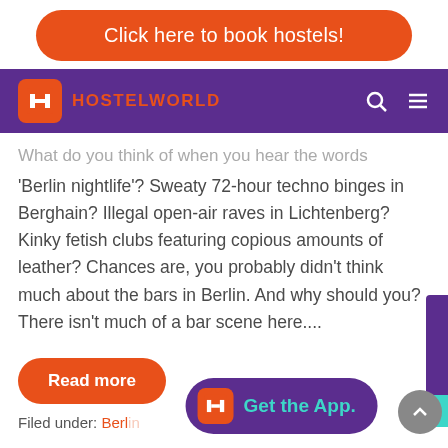[Figure (other): Orange rounded button banner: 'Click here to book hostels!']
HOSTELWORLD (logo and navigation bar)
What do you think of when you hear the words 'Berlin nightlife'? Sweaty 72-hour techno binges in Berghain? Illegal open-air raves in Lichtenberg? Kinky fetish clubs featuring copious amounts of leather? Chances are, you probably didn't think much about the bars in Berlin. And why should you? There isn't much of a bar scene here....
[Figure (other): Orange rounded 'Read more' button]
Filed under: Berlin
[Figure (other): Purple 'Get the App.' banner with Hostelworld H logo icon]